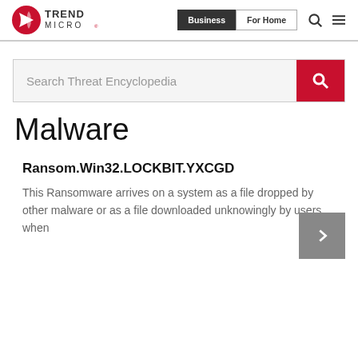[Figure (logo): Trend Micro logo with red circular icon and TREND MICRO text]
Business | For Home
[Figure (screenshot): Search Threat Encyclopedia search bar with red search button]
Malware
Ransom.Win32.LOCKBIT.YXCGD
This Ransomware arrives on a system as a file dropped by other malware or as a file downloaded unknowingly by users when